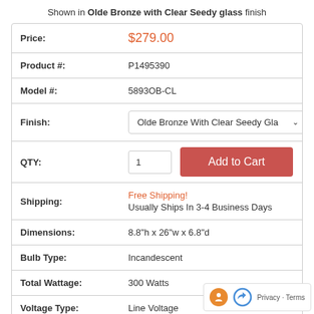Shown in Olde Bronze with Clear Seedy glass finish
| Price: | $279.00 |
| Product #: | P1495390 |
| Model #: | 5893OB-CL |
| Finish: | Olde Bronze With Clear Seedy Gla ▾ |
| QTY: | 1 | Add to Cart |
| Shipping: | Free Shipping!
Usually Ships In 3-4 Business Days |
| Dimensions: | 8.8"h x 26"w x 6.8"d |
| Bulb Type: | Incandescent |
| Total Wattage: | 300 Watts |
| Voltage Type: | Line Voltage |